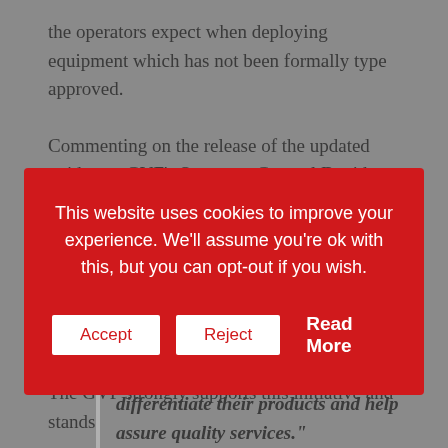the operators expect when deploying equipment which has not been formally type approved.
Commenting on the release of the updated guidance, GVF's Secretary General David Meltzer said,
[Figure (screenshot): Cookie consent banner overlay with red background containing text: 'This website uses cookies to improve your experience. We'll assume you're ok with this, but you can opt-out if you wish.' with Accept, Reject, and Read More buttons.]
of new services, the new guidance will enable antenna manufacturers to differentiate their products and help assure quality services."
The GVF strongly supports this initiative and stands